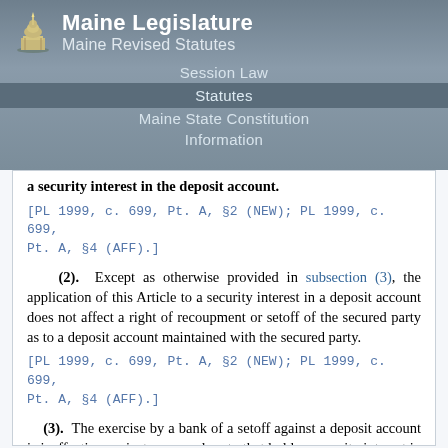Maine Legislature
Maine Revised Statutes
Session Law
Statutes
Maine State Constitution
Information
a security interest in the deposit account.
[PL 1999, c. 699, Pt. A, §2 (NEW); PL 1999, c. 699, Pt. A, §4 (AFF).]
(2).  Except as otherwise provided in subsection (3), the application of this Article to a security interest in a deposit account does not affect a right of recoupment or setoff of the secured party as to a deposit account maintained with the secured party.
[PL 1999, c. 699, Pt. A, §2 (NEW); PL 1999, c. 699, Pt. A, §4 (AFF).]
(3).  The exercise by a bank of a setoff against a deposit account is ineffective against a secured party that holds a security interest in the deposit account that is perfected by